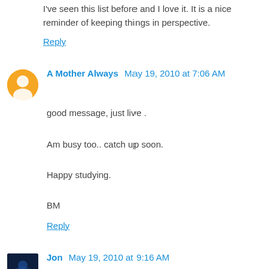I've seen this list before and I love it. It is a nice reminder of keeping things in perspective.
Reply
A Mother Always  May 19, 2010 at 7:06 AM
good message, just live .

Am busy too.. catch up soon.

Happy studying.

BM
Reply
Jon  May 19, 2010 at 9:16 AM
good one!!
Reply